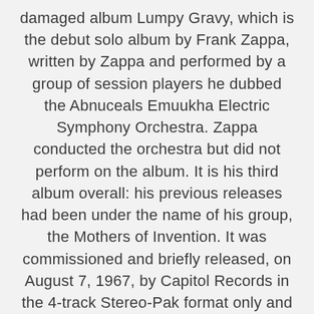damaged album Lumpy Gravy, which is the debut solo album by Frank Zappa, written by Zappa and performed by a group of session players he dubbed the Abnuceals Emuukha Electric Symphony Orchestra. Zappa conducted the orchestra but did not perform on the album. It is his third album overall: his previous releases had been under the name of his group, the Mothers of Invention. It was commissioned and briefly released, on August 7, 1967, by Capitol Records in the 4-track Stereo-Pak format only and then withdrawn due to a lawsuit from MGM Records. MGM claimed that the album violated Zappa's contract with their subsidiary, Verve Records. In 1968 it was reedited and released by MGM's